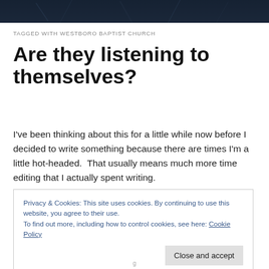[Figure (photo): Dark blue/navy header image with blurred background, appears to be a night scene]
TAGGED WITH WESTBORO BAPTIST CHURCH
Are they listening to themselves?
I've been thinking about this for a little while now before I decided to write something because there are times I'm a little hot-headed.  That usually means much more time editing that I actually spent writing.
Privacy & Cookies: This site uses cookies. By continuing to use this website, you agree to their use.
To find out more, including how to control cookies, see here: Cookie Policy